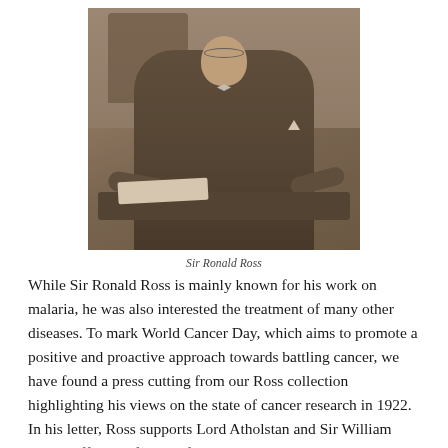[Figure (photo): Sepia-toned historical photograph of Sir Ronald Ross, an older gentleman seated at a desk, wearing a suit and bow tie with glasses, holding a pen over papers.]
Sir Ronald Ross
While Sir Ronald Ross is mainly known for his work on malaria, he was also interested the treatment of many other diseases. To mark World Cancer Day, which aims to promote a positive and proactive approach towards battling cancer, we have found a press cutting from our Ross collection highlighting his views on the state of cancer research in 1922. In his letter, Ross supports Lord Atholstan and Sir William Veno's offering of a munificent